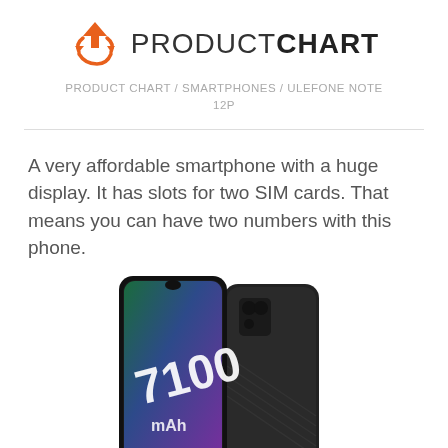[Figure (logo): ProductChart logo with orange arrow/recycle icon and PRODUCTCHART text]
PRODUCT CHART / SMARTPHONES / ULEFONE NOTE 12P
A very affordable smartphone with a huge display. It has slots for two SIM cards. That means you can have two numbers with this phone.
[Figure (photo): Front and back view of the Ulefone Note 12P smartphone in black, showing 7100 mAh battery label on front screen]